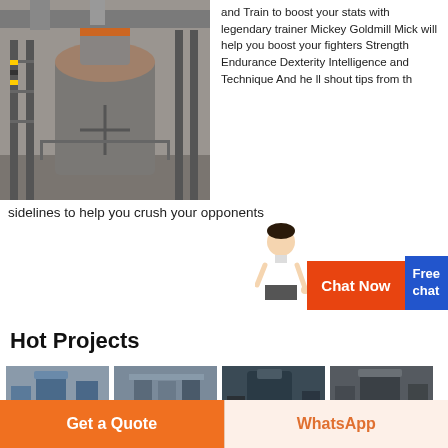[Figure (photo): Industrial grinding mill machine in a factory setting]
and Train to boost your stats with legendary trainer Mickey Goldmill Mick will help you boost your fighters Strength Endurance Dexterity Intelligence and Technique And he ll shout tips from the sidelines to help you crush your opponents
[Figure (infographic): Chat Now button with Free chat widget and assistant figure]
Hot Projects
[Figure (photo): 7TPH Calcined Petroleum Coke industrial plant]
7TPH Calcined Petroleum Coke
[Figure (photo): India 35TPH Limestone processing plant]
India 35TPH Limestone
[Figure (photo): Shanxi 40,000TPY Coal processing plant]
Shanxi 40,000TPY Coal-
[Figure (photo): Yixing 5TPH Clay Pottery Grinding plant]
Yixing 5TPH Clay Pottery Grinding
Get a Quote
WhatsApp